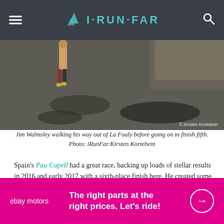iRUNFAR
[Figure (photo): A runner walking out of La Fouly, seen from behind. Dark wet road surface, rocky terrain. Copyright watermark: © Kirsten Kortebein]
Jim Walmsley walking his way out of La Fouly before going on to finish fifth. Photo: iRunFar/Kirsten Kortebein
Spain's Pau Capell had a great race, backing up loads of stellar results in 2016 and early 2017 with a sixth-place finish here. He created some fun finish-line drama by hunting Jim just 100 meters back or so and forcing Jim into run sub-six-minute-mile pace through the streets of Chamonix to hold onto fifth place.
[Figure (other): ebay motors advertisement: The right parts at the right prices. Let's ride!]